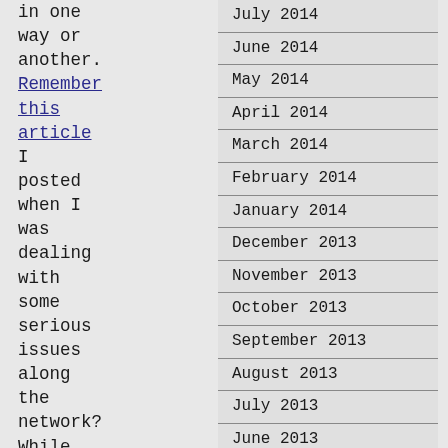in one way or another. Remember this article I posted when I was dealing with some serious issues along the network? While indirectly effecting me, it does effect the
| July 2014 |
| June 2014 |
| May 2014 |
| April 2014 |
| March 2014 |
| February 2014 |
| January 2014 |
| December 2013 |
| November 2013 |
| October 2013 |
| September 2013 |
| August 2013 |
| July 2013 |
| June 2013 |
| May 2013 |
| April 2013 |